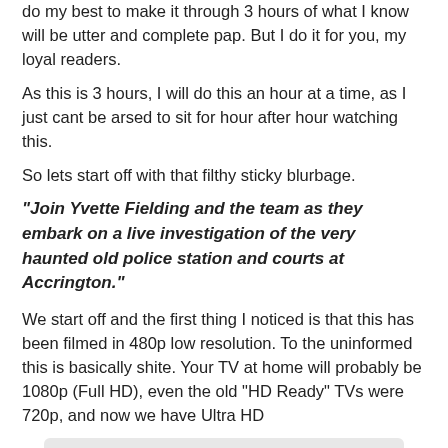do my best to make it through 3 hours of what I know will be utter and complete pap. But I do it for you, my loyal readers.
As this is 3 hours, I will do this an hour at a time, as I just cant be arsed to sit for hour after hour watching this.
So lets start off with that filthy sticky blurbage.
"Join Yvette Fielding and the team as they embark on a live investigation of the very haunted old police station and courts at Accrington."
We start off and the first thing I noticed is that this has been filmed in 480p low resolution. To the uninformed this is basically shite. Your TV at home will probably be 1080p (Full HD), even the old "HD Ready" TVs were 720p, and now we have Ultra HD
[Figure (infographic): Screen Resolution Comparison infographic showing a large pink/red rectangle labeled 8K with dotted line separator and grey background]